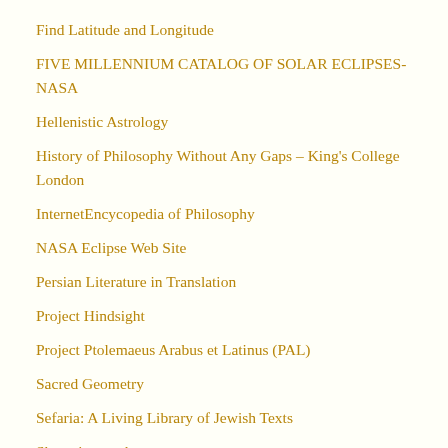Find Latitude and Longitude
FIVE MILLENNIUM CATALOG OF SOLAR ECLIPSES-NASA
Hellenistic Astrology
History of Philosophy Without Any Gaps – King's College London
InternetEncycopedia of Philosophy
NASA Eclipse Web Site
Persian Literature in Translation
Project Hindsight
Project Ptolemaeus Arabus et Latinus (PAL)
Sacred Geometry
Sefaria: A Living Library of Jewish Texts
Skyscript.co.uk
Stanford Encyclopedia of Philosophy